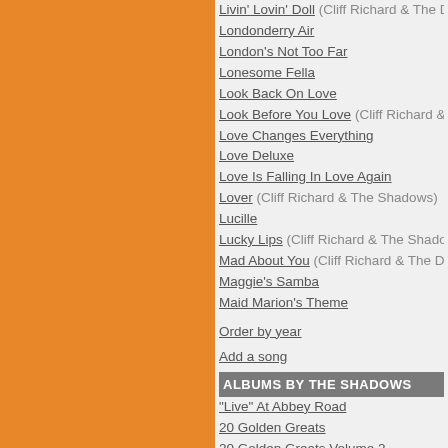Livin' Lovin' Doll (Cliff Richard & The Drifters)
Londonderry Air
London's Not Too Far
Lonesome Fella
Look Back On Love
Look Before You Love (Cliff Richard & The Shadows)
Love Changes Everything
Love Deluxe
Love Is Falling In Love Again
Lover (Cliff Richard & The Shadows)
Lucille
Lucky Lips (Cliff Richard & The Shadows)
Mad About You (Cliff Richard & The Drifters)
Maggie's Samba
Maid Marion's Theme
Order by year
Add a song
ALBUMS BY THE SHADOWS
"Live" At Abbey Road
20 Golden Greats
20 Golden Greats Volume 2
20 Greatest Hits
20 Jaar Hits Deel 2
20 Original Greats (Cliff Richard & The Shadows)
20 Rock 'N' Roll Hits
30th Anniversary Picture Record Collection (Cliff Richard & The Shadows)
32 Minutes And 17 Seconds With Cliff Richard (Cliff Richard & The Shadows)
40 Golden Classics
50 Golden Greats
60 Essential Recordings (Hank Marvin & The Shadows)
A Portrait Of The Shadows
A Sentimental Journey (Cliff Richard & The Shadows)